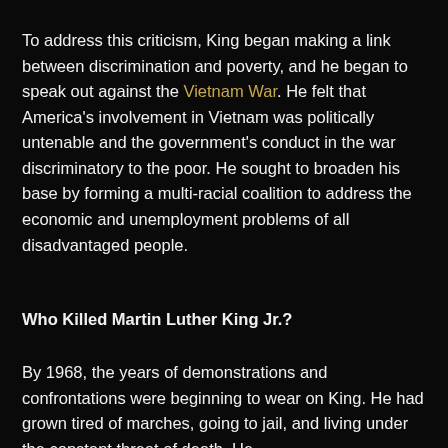To address this criticism, King began making a link between discrimination and poverty, and he began to speak out against the Vietnam War. He felt that America's involvement in Vietnam was politically untenable and the government's conduct in the war discriminatory to the poor. He sought to broaden his base by forming a multi-racial coalition to address the economic and unemployment problems of all disadvantaged people.
Who Killed Martin Luther King Jr.?
By 1968, the years of demonstrations and confrontations were beginning to wear on King. He had grown tired of marches, going to jail, and living under the constant threat of death. He